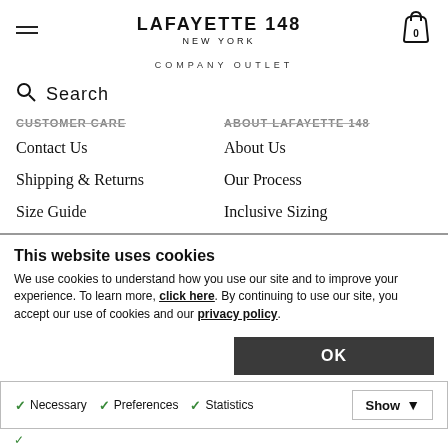LAFAYETTE 148 NEW YORK
COMPANY OUTLET
Search
CUSTOMER CARE
ABOUT LAFAYETTE 148
Contact Us
About Us
Shipping & Returns
Our Process
Size Guide
Inclusive Sizing
Careers
FAQ
This website uses cookies
We use cookies to understand how you use our site and to improve your experience. To learn more, click here. By continuing to use our site, you accept our use of cookies and our privacy policy.
OK
Necessary  Preferences  Statistics  Show